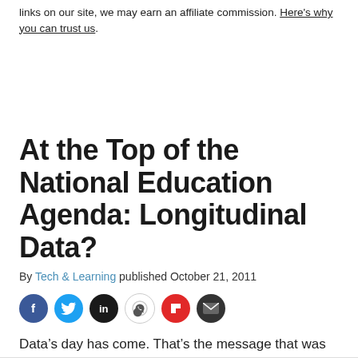links on our site, we may earn an affiliate commission. Here's why you can trust us.
At the Top of the National Education Agenda: Longitudinal Data?
By Tech & Learning published October 21, 2011
[Figure (other): Social sharing icons: Facebook, Twitter, LinkedIn, WhatsApp, Flipboard, Email]
Data’s day has come. That’s the message that was